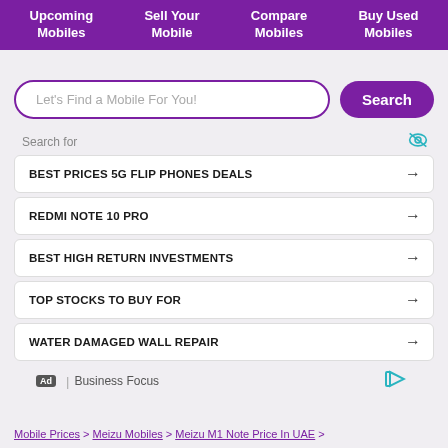Upcoming Mobiles | Sell Your Mobile | Compare Mobiles | Buy Used Mobiles
Let's Find a Mobile For You! Search
Search for
BEST PRICES 5G FLIP PHONES DEALS →
REDMI NOTE 10 PRO →
BEST HIGH RETURN INVESTMENTS →
TOP STOCKS TO BUY FOR →
WATER DAMAGED WALL REPAIR →
Ad | Business Focus
Mobile Prices > Meizu Mobiles > Meizu M1 Note Price In UAE >